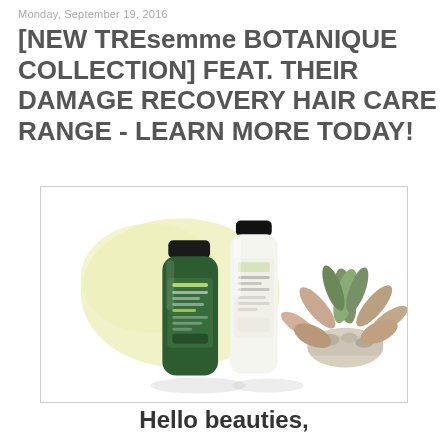Monday, September 19, 2016
[NEW TREsemme BOTANIQUE COLLECTION] FEAT. THEIR DAMAGE RECOVERY HAIR CARE RANGE - LEARN MORE TODAY!
[Figure (photo): TRESemme Botanique collection product photo showing a dark green shampoo bottle and a white conditioner bottle beside a succulent plant on a white background with a pale yellow paint stroke accent.]
Hello beauties,